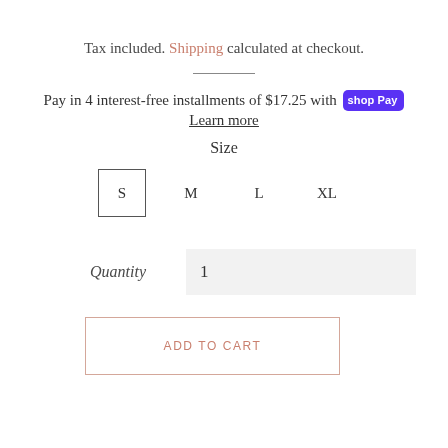Tax included. Shipping calculated at checkout.
Pay in 4 interest-free installments of $17.25 with Shop Pay
Learn more
Size
S  M  L  XL
Quantity  1
ADD TO CART